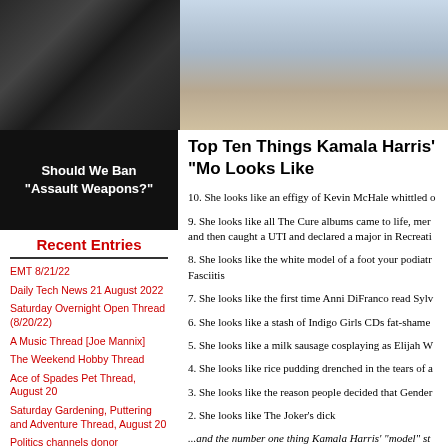[Figure (photo): Photo of an assault rifle on an American flag]
[Figure (photo): Photo of a person in a denim jacket]
[Figure (other): Black box with white bold text: Should We Ban "Assault Weapons?"]
Top Ten Things Kamala Harris' "Mo Looks Like
10. She looks like an effigy of Kevin McHale whittled o
9. She looks like all The Cure albums came to life, mer and then caught a UTI and declared a major in Recreati
8. She looks like the white model of a foot your podiatr Fasciitis
7. She looks like the first time Anni DiFranco read Sylv
6. She looks like a stash of Indigo Girls CDs fat-shame
5. She looks like a milk sausage cosplaying as Elijah W
4. She looks like rice pudding drenched in the tears of a
3. She looks like the reason people decided that Gender
2. She looks like The Joker's dick
...and the number one thing Kamala Harris' "model" st
Recent Entries
EMT 8/21/22
Daily Tech News 21 August 2022
Saturday Overnight Open Thread (8/20/22)
A Music Thread [Joe Mannix]
The Weekend Hobby Thread
Ace of Spades Pet Thread, August 20
Saturday Gardening, Puttering and Adventure Thread, August 20
Politics channels donor